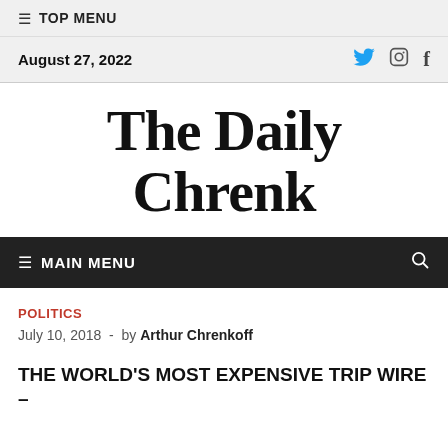≡ TOP MENU
August 27, 2022
The Daily Chrenk
≡ MAIN MENU
POLITICS
July 10, 2018  -  by Arthur Chrenkoff
THE WORLD'S MOST EXPENSIVE TRIP WIRE –